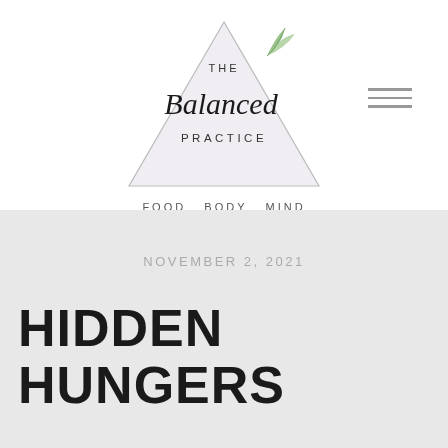[Figure (logo): The Balanced Practice logo: triangle outline with script text 'Balanced' and sans-serif 'THE' and 'PRACTICE', with leaf illustration, subtitle 'FOOD BODY MIND']
NOVEMBER 2, 2021
HIDDEN HUNGERS